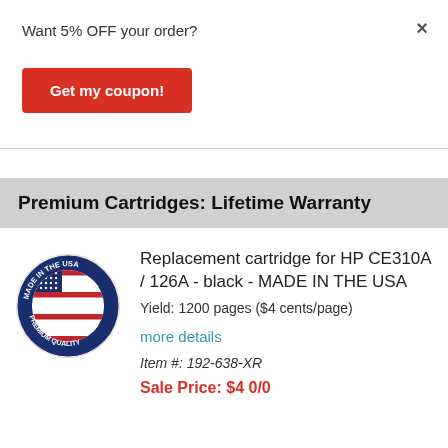×
Want 5% OFF your order?
Get my coupon!
Premium Cartridges: Lifetime Warranty
[Figure (logo): Made in the USA Premium Quality circular badge with American flag in center]
Replacement cartridge for HP CE310A / 126A - black - MADE IN THE USA
Yield: 1200 pages ($4 cents/page)
more details
Item #: 192-638-XR
Sale Price: $4 0/0